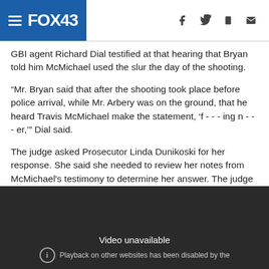FOX43
GBI agent Richard Dial testified at that hearing that Bryan told him McMichael used the slur the day of the shooting.
“Mr. Bryan said that after the shooting took place before police arrival, while Mr. Arbery was on the ground, that he heard Travis McMichael make the statement, ‘f - - - ing n - - - er,’” Dial said.
The judge asked Prosecutor Linda Dunikoski for her response. She said she needed to review her notes from McMichael's testimony to determine her answer. The judge will decide the matter Thursday, he said.
[Figure (screenshot): Video player with dark background showing 'Video unavailable' message and 'Playback on other websites has been disabled by the' text]